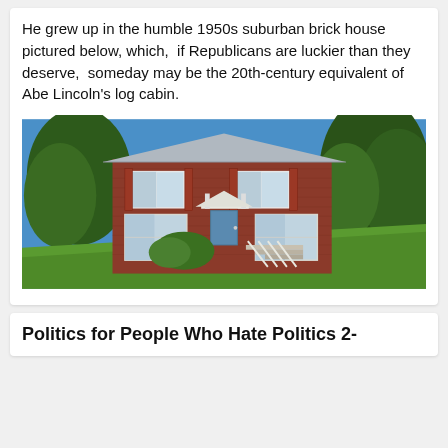He grew up in the humble 1950s suburban brick house pictured below, which,  if Republicans are luckier than they deserve,  someday may be the 20th-century equivalent of Abe Lincoln's log cabin.
[Figure (photo): A two-story red brick suburban house from the 1950s with a grey roof, white-shuttered windows, front door with small portico, green lawn on a slope, white metal railings on steps, and tall evergreen trees in the background under a blue sky.]
Politics for People Who Hate Politics 2-